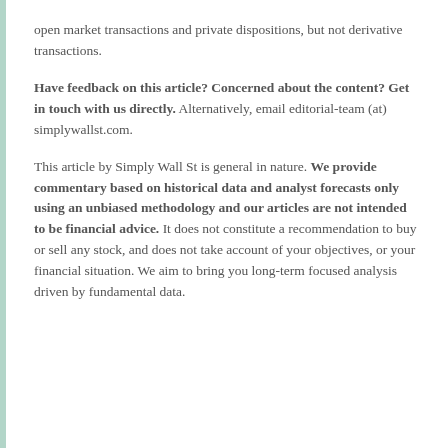open market transactions and private dispositions, but not derivative transactions.
Have feedback on this article? Concerned about the content? Get in touch with us directly. Alternatively, email editorial-team (at) simplywallst.com.
This article by Simply Wall St is general in nature. We provide commentary based on historical data and analyst forecasts only using an unbiased methodology and our articles are not intended to be financial advice. It does not constitute a recommendation to buy or sell any stock, and does not take account of your objectives, or your financial situation. We aim to bring you long-term focused analysis driven by fundamental data.